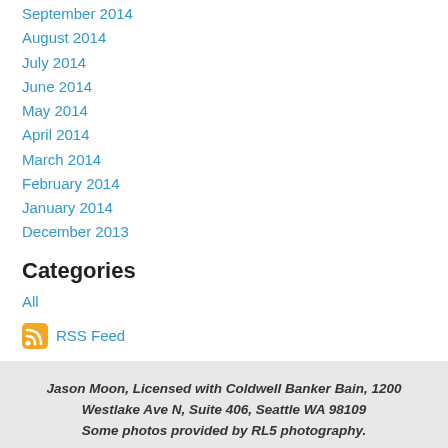September 2014
August 2014
July 2014
June 2014
May 2014
April 2014
March 2014
February 2014
January 2014
December 2013
Categories
All
RSS Feed
Jason Moon, Licensed with Coldwell Banker Bain, 1200 Westlake Ave N, Suite 406, Seattle WA 98109
Some photos provided by RL5 photography.
Version: Mobile | Web